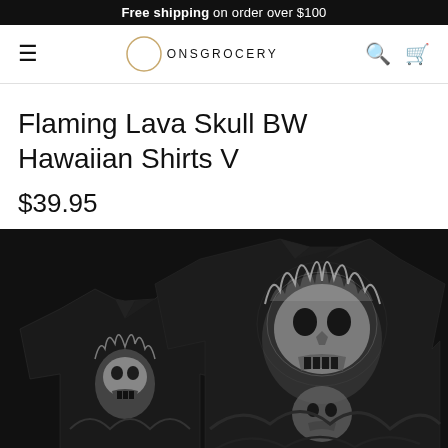Free shipping on order over $100
[Figure (screenshot): Website navigation bar with hamburger menu, ONSGROCERY logo (crescent moon circle icon), search and cart icons]
Flaming Lava Skull BW Hawaiian Shirts V
$39.95
[Figure (photo): Black and white Hawaiian shirt showing two views - front and back - with flaming skulls and lava design printed all over]